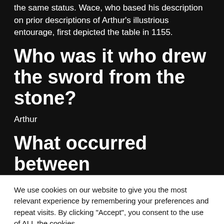the same status. Wace, who based his description on prior descriptions of Arthur's illustrious entourage, first depicted the table in 1155.
Who was it who drew the sword from the stone?
Arthur
What occurred between
We use cookies on our website to give you the most relevant experience by remembering your preferences and repeat visits. By clicking “Accept”, you consent to the use of ALL the cookies.
Do not sell my personal information.